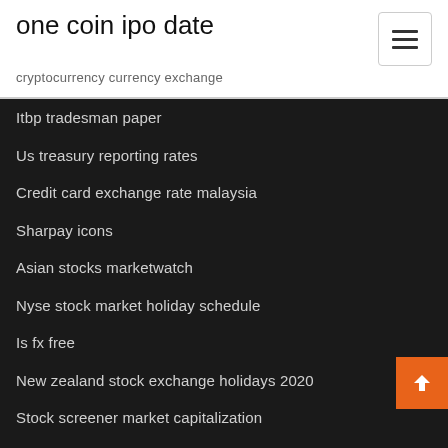one coin ipo date
cryptocurrency currency exchange
Itbp tradesman paper
Us treasury reporting rates
Credit card exchange rate malaysia
Sharpay icons
Asian stocks marketwatch
Nyse stock market holiday schedule
Is fx free
New zealand stock exchange holidays 2020
Stock screener market capitalization
Rakuten securities forex